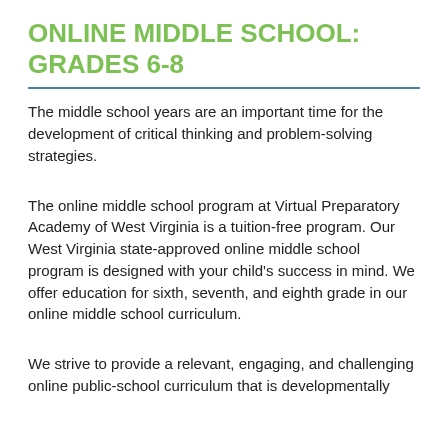ONLINE MIDDLE SCHOOL: GRADES 6-8
The middle school years are an important time for the development of critical thinking and problem-solving strategies.
The online middle school program at Virtual Preparatory Academy of West Virginia is a tuition-free program. Our West Virginia state-approved online middle school program is designed with your child's success in mind. We offer education for sixth, seventh, and eighth grade in our online middle school curriculum.
We strive to provide a relevant, engaging, and challenging online public-school curriculum that is developmentally